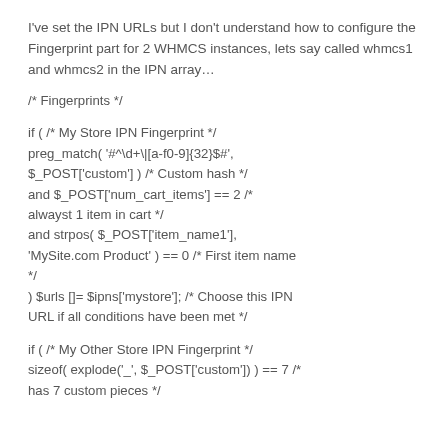I've set the IPN URLs but I don't understand how to configure the Fingerprint part for 2 WHMCS instances, lets say called whmcs1 and whmcs2 in the IPN array…
/* Fingerprints */
if ( /* My Store IPN Fingerprint */ preg_match( '#^\d+\|[a-f0-9]{32}$#', $_POST['custom'] ) /* Custom hash */ and $_POST['num_cart_items'] == 2 /* alwayst 1 item in cart */ and strpos( $_POST['item_name1'], 'MySite.com Product' ) == 0 /* First item name */ ) $urls []= $ipns['mystore']; /* Choose this IPN URL if all conditions have been met */
if ( /* My Other Store IPN Fingerprint */ sizeof( explode('_', $_POST['custom']) ) == 7 /* has 7 custom pieces */